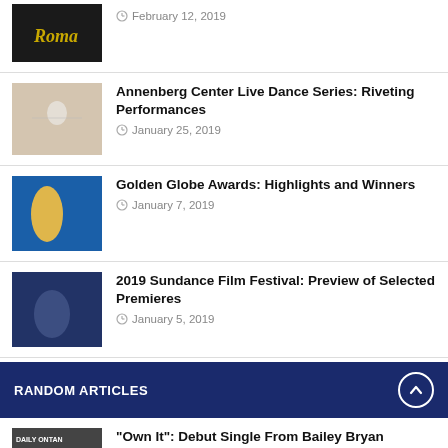Roma (film title implied) — February 12, 2019
Annenberg Center Live Dance Series: Riveting Performances — January 25, 2019
Golden Globe Awards: Highlights and Winners — January 7, 2019
2019 Sundance Film Festival: Preview of Selected Premieres — January 5, 2019
RANDOM ARTICLES
"Own It": Debut Single From Bailey Bryan